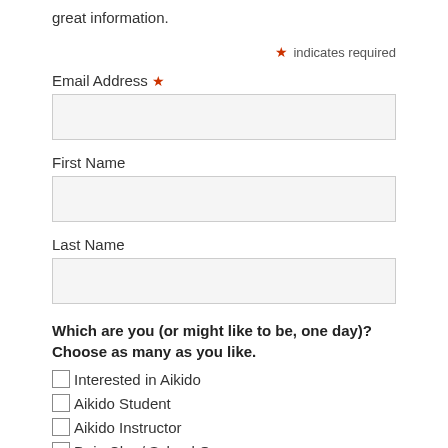great information.
* indicates required
Email Address *
First Name
Last Name
Which are you (or might like to be, one day)? Choose as many as you like.
Interested in Aikido
Aikido Student
Aikido Instructor
Dojo Cho / School Owner
Parent of a Child Student